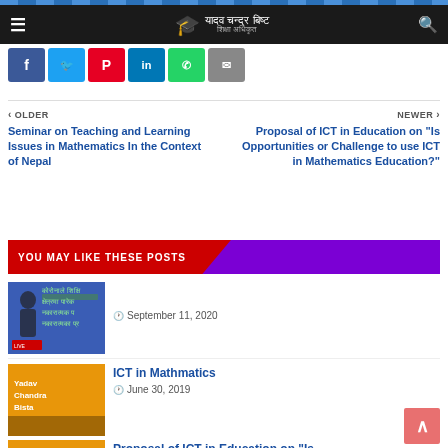यादव चन्द्र बिष्ट — शिक्षा अधिकृत
[Figure (screenshot): Social share buttons row: Facebook, Twitter, Pinterest, LinkedIn, WhatsApp, Email]
< OLDER
Seminar on Teaching and Learning Issues in Mathematics In the Context of Nepal
NEWER >
Proposal of ICT in Education on "Is Opportunities or Challenge to use ICT in Mathematics Education?"
YOU MAY LIKE THESE POSTS
[Figure (photo): Thumbnail image with blue background, Nepali text in green, person silhouette on left, red label at bottom]
September 11, 2020
[Figure (photo): Thumbnail image with orange background, text: Yadav Chandra Bista]
ICT in Mathmatics
June 30, 2019
[Figure (photo): Thumbnail image with orange background for Proposal of ICT post]
Proposal of ICT in Education on "Is